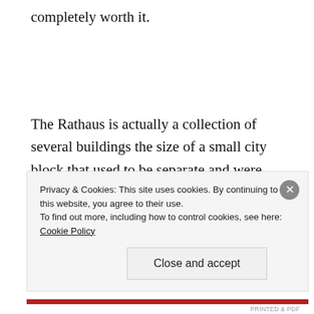completely worth it.
The Rathaus is actually a collection of several buildings the size of a small city block that used to be separate and were then connected as the city's administration expanded during times of prosperity. Although only a small part of it is used today, the rest is preserved to
Privacy & Cookies: This site uses cookies. By continuing to use this website, you agree to their use.
To find out more, including how to control cookies, see here: Cookie Policy
Close and accept